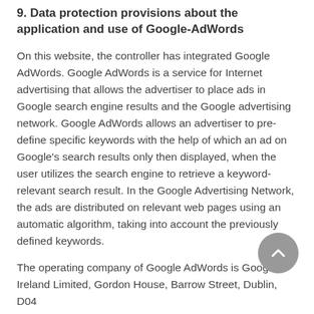9. Data protection provisions about the application and use of Google-AdWords
On this website, the controller has integrated Google AdWords. Google AdWords is a service for Internet advertising that allows the advertiser to place ads in Google search engine results and the Google advertising network. Google AdWords allows an advertiser to pre-define specific keywords with the help of which an ad on Google's search results only then displayed, when the user utilizes the search engine to retrieve a keyword-relevant search result. In the Google Advertising Network, the ads are distributed on relevant web pages using an automatic algorithm, taking into account the previously defined keywords.
The operating company of Google AdWords is Google Ireland Limited, Gordon House, Barrow Street, Dublin, D04